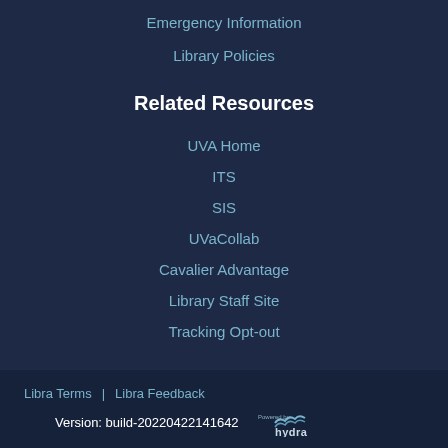Emergency Information
Library Policies
Related Resources
UVA Home
ITS
SIS
UVaCollab
Cavalier Advantage
Library Staff Site
Tracking Opt-out
Libra Terms | Libra Feedback
Version: build-20220422141642 Powered by hydra